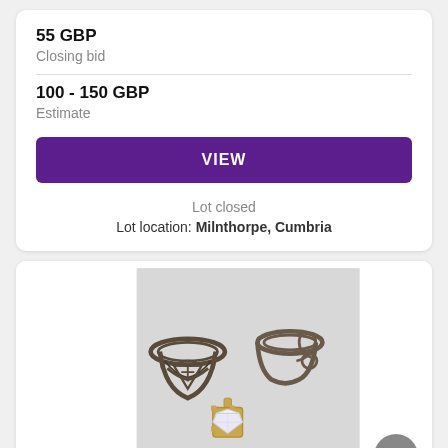55 GBP
Closing bid
100 - 150 GBP
Estimate
VIEW
Lot closed
Lot location: Milnthorpe, Cumbria
[Figure (photo): Two silver rings and one gold pendant with clear stone, photographed on grey background]
Lot 954